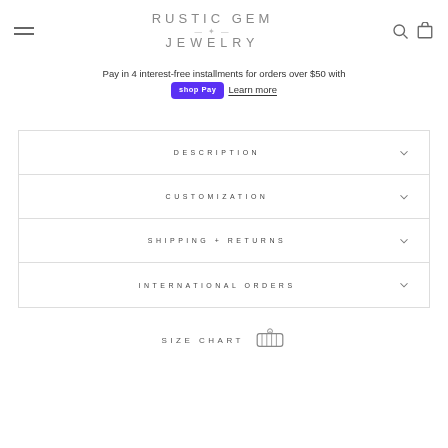RUSTIC GEM JEWELRY
Pay in 4 interest-free installments for orders over $50 with shop Pay Learn more
DESCRIPTION
CUSTOMIZATION
SHIPPING + RETURNS
INTERNATIONAL ORDERS
SIZE CHART